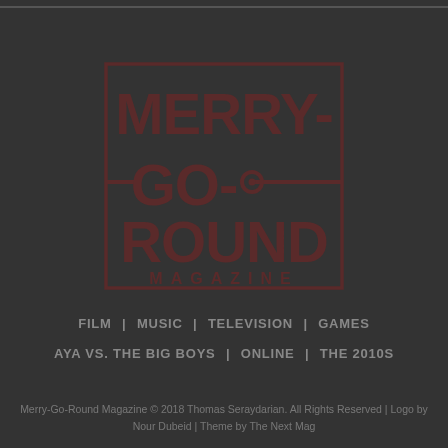[Figure (logo): Merry-Go-Round Magazine logo: bold uppercase text MERRY-GO-ROUND with a key/horizontal bar graphic, and MAGAZINE below, all in dark brownish-red on a dark background]
FILM | MUSIC | TELEVISION | GAMES
AYA VS. THE BIG BOYS | ONLINE | THE 2010S
Merry-Go-Round Magazine © 2018 Thomas Seraydarian. All Rights Reserved | Logo by Nour Dubeid | Theme by The Next Mag